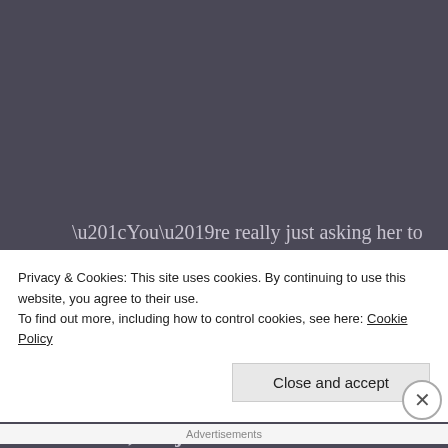“You’re really just asking her to lie to you,” adds my wife.
She would know.
3. You are accountable to your other lovers, not just each other.
As a member of a couple, you are operating from a
Privacy & Cookies: This site uses cookies. By continuing to use this website, you agree to their use.
To find out more, including how to control cookies, see here: Cookie Policy
Close and accept
Advertisements